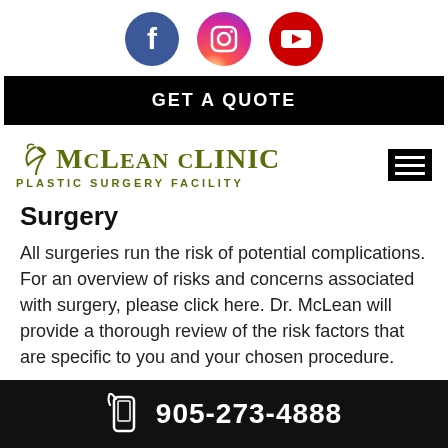[Figure (logo): Social media icons: Facebook (blue circle with f), Instagram (gradient circle with camera), YouTube (red circle with play button)]
GET A QUOTE
[Figure (logo): McLean Clinic - Plastic Surgery Facility logo with olive/green text and decorative leaf/bird element, plus hamburger menu icon]
Surgery
All surgeries run the risk of potential complications. For an overview of risks and concerns associated with surgery, please click here. Dr. McLean will provide a thorough review of the risk factors that are specific to you and your chosen procedure.
905-273-4888